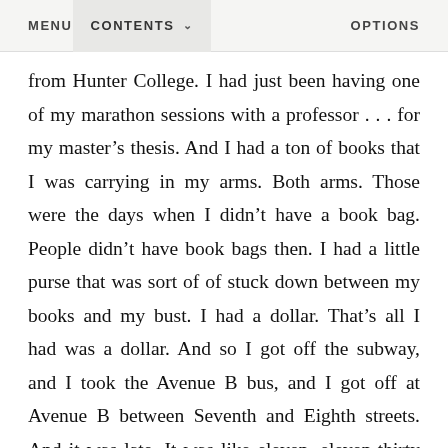MENU   CONTENTS ∨   OPTIONS
from Hunter College. I had just been having one of my marathon sessions with a professor . . . for my master’s thesis. And I had a ton of books that I was carrying in my arms. Both arms. Those were the days when I didn’t have a book bag. People didn’t have book bags then. I had a little purse that was sort of of stuck down between my books and my bust. I had a dollar. That’s all I had was a dollar. And so I got off the subway, and I took the Avenue B bus, and I got off at Avenue B between Seventh and Eighth streets. And it was late. It was like eleven, eleven-thirty at night. So, I’m walking to my house. We didn’t have a lock on the front door. So I just pushed the door with my shoulder, which is what I always did. And I